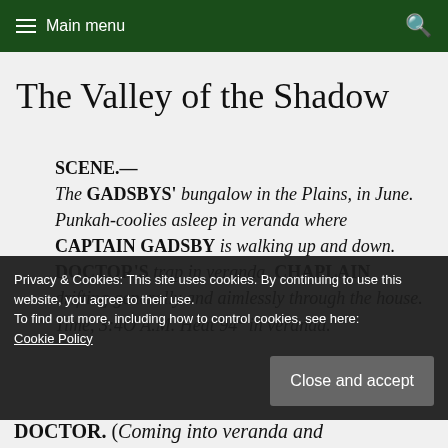Main menu
The Valley of the Shadow
SCENE.— The GADSBYS' bungalow in the Plains, in June. Punkah-coolies asleep in veranda where CAPTAIN GADSBY is walking up and down. DOCTOR'S trap in veranda. CHAPLAIN drifting generally and aimlessly through the house. Time, 3:40 A.M. Heat 94° in veranda.
Privacy & Cookies: This site uses cookies. By continuing to use this website, you agree to their use. To find out more, including how to control cookies, see here: Cookie Policy
DOCTOR. (Coming into veranda and